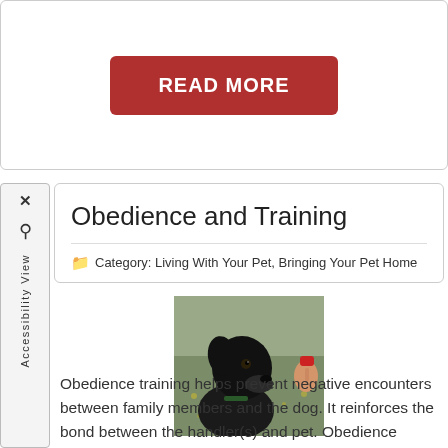READ MORE
Obedience and Training
Category: Living With Your Pet, Bringing Your Pet Home
[Figure (photo): A black dog looking at a person's hand holding a red clicker, outdoors with blurred green background]
Obedience training helps prevent negative encounters between family members and the dog. It reinforces the bond between the handler(s) and pet. Obedience Training A MUST for every good family dog, regardless of size or